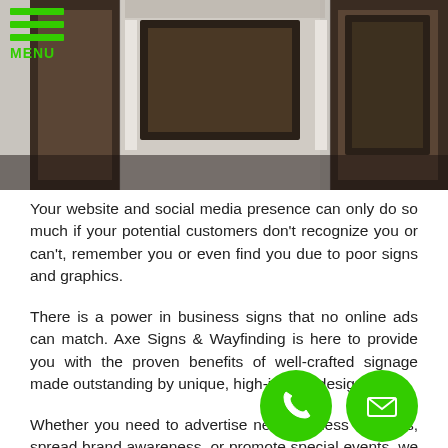MENU
[Figure (photo): Photo of business storefront with dark window frames and exterior signage]
Your website and social media presence can only do so much if your potential customers don't recognize you or can't, remember you or even find you due to poor signs and graphics.
There is a power in business signs that no online ads can match. Axe Signs & Wayfinding is here to provide you with the proven benefits of well-crafted signage made outstanding by unique, high-impact designs.
Whether you need to advertise new business offerings, spread brand awareness, or promote special events, we can tailor the perfect business signs to help you reach your goals. We can even guide you in choosing the best type and creating the most high-impact designs to make the most out of your investment.